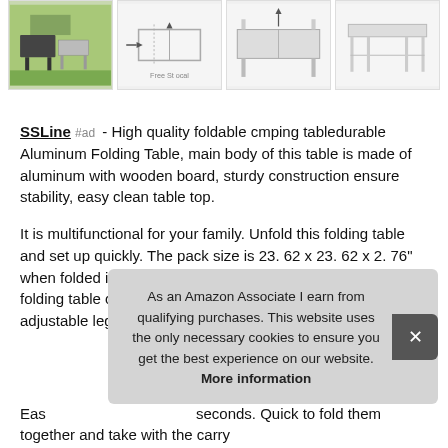[Figure (photo): Row of four product thumbnail images of a foldable camping table. First shows outdoor/BBQ scene with green grass. Second shows folding mechanism diagram. Third shows table unfolded. Fourth shows table frame/legs.]
SSLine #ad - High quality foldable cmping tabledurable Aluminum Folding Table, main body of this table is made of aluminum with wooden board, sturdy construction ensure stability, easy clean table top.
It is multifunctional for your family. Unfold this folding table and set up quickly. The pack size is 23. 62 x 23. 62 x 2. 76" when folded in half. Heigh adjustablethe height of 3 foot long folding table can be adjusted to 22 and 27 inches with the adjustable legs.
Eas seconds. Quick to fold them together and take with the carry
As an Amazon Associate I earn from qualifying purchases. This website uses the only necessary cookies to ensure you get the best experience on our website. More information